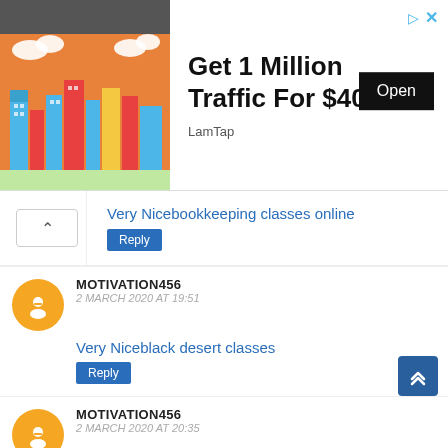[Figure (illustration): Advertisement banner: colorful cartoon city skyline illustration on orange background on the left, with text 'Get 1 Million Traffic For $40' and 'LamTap' source label, and a black 'Open' button. Arrow and X icons in top right.]
Very Nicebookkeeping classes online
Reply
MOTIVATION456
2 MARCH 2020 AT 19:51
Very Niceblack desert classes
Reply
MOTIVATION456
2 MARCH 2020 AT 20:35
Very Niceelder scrolls online best class
Reply
DEEPAK